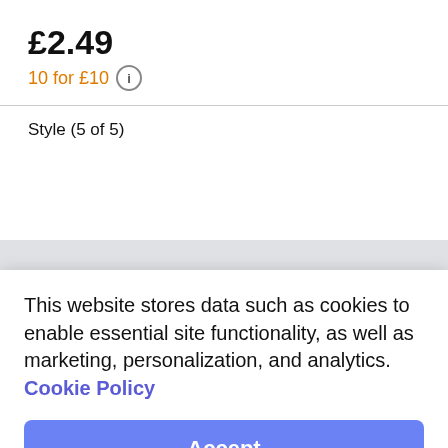£2.49
10 for £10 ⓘ
Style (5 of 5)
This website stores data such as cookies to enable essential site functionality, as well as marketing, personalization, and analytics. Cookie Policy
Accept
Deny
Total
£2.49
Quantity
Add to Bag